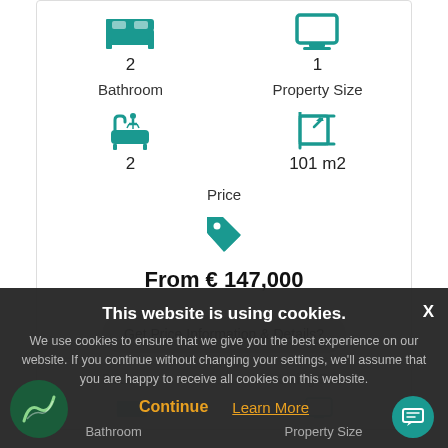[Figure (screenshot): Property listing card showing bedroom count (2), living room icon (1), bathroom count (2), property size (101 m2), price tag icon, price 'From € 147,000', and a 'Get Price Information & Details?' button. Below is a second card partially visible. A cookie consent overlay appears at the bottom with title 'This website is using cookies.' and buttons 'Continue' and 'Learn More'. A teal chat button and a dark green logo circle are visible.]
2
1
Bathroom
Property Size
2
101 m2
Price
From € 147,000
Get Price Information & Details?
Bedroom
Living Room
This website is using cookies.
We use cookies to ensure that we give you the best experience on our website. If you continue without changing your settings, we'll assume that you are happy to receive all cookies on this website.
Continue
Learn More